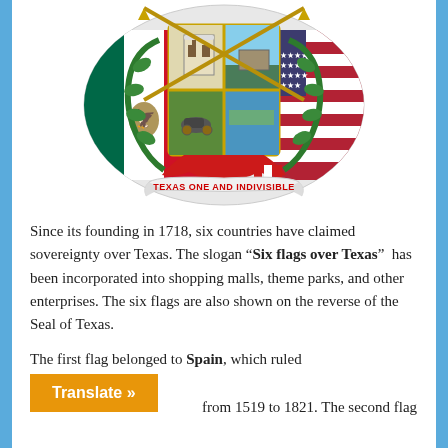[Figure (illustration): Seal/coat of arms of San Antonio or Texas featuring the Alamo building at top center, crossed spears with golden tips, green laurel wreaths, flags (Mexican and American) on either side, a cannon and bridge in the center shield quadrants, a ribbon banner reading 'TEXAS ONE AND INDIVISIBLE' at the bottom]
Since its founding in 1718, six countries have claimed sovereignty over Texas. The slogan “Six flags over Texas”  has been incorporated into shopping malls, theme parks, and other enterprises. The six flags are also shown on the reverse of the Seal of Texas.
The first flag belonged to Spain, which ruled from 1519 to 1821. The second flag